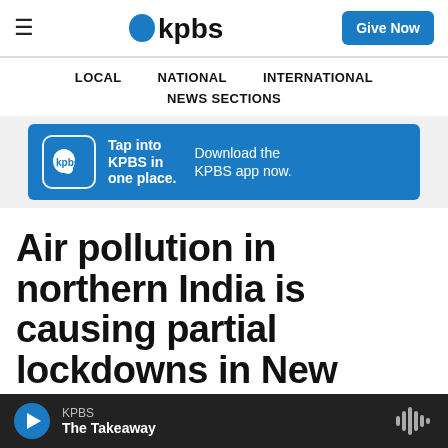KPBS
LOCAL   NATIONAL   INTERNATIONAL
NEWS SECTIONS
[Figure (infographic): KPBS app advertisement banner: blue background with KPBS logo box, text 'Tap into KPBS in one place.' and 'Download the KPBS app now.']
Air pollution in northern India is causing partial lockdowns in New Delhi
KPBS — The Takeaway (audio player bar)